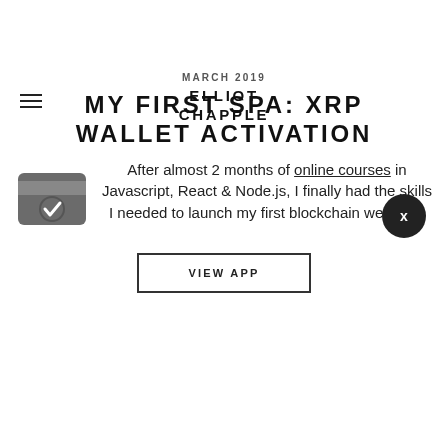ELLIOT CHAPPLE
MARCH 2019
MY FIRST SPA: XRP WALLET ACTIVATION
[Figure (illustration): Wallet icon — a grey rounded rectangle resembling a card wallet with a checkmark circle in the center]
After almost 2 months of online courses in Javascript, React & Node.js, I finally had the skills I needed to launch my first blockchain web app.
VIEW APP
MARCH 2019